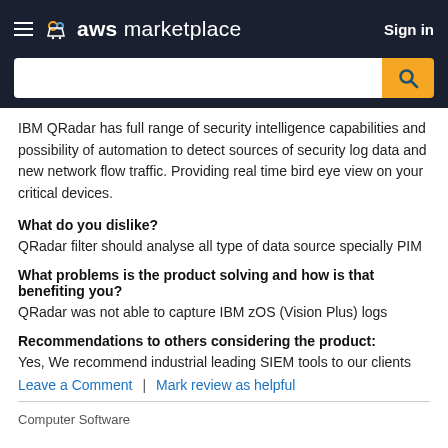aws marketplace  Sign in
IBM QRadar has full range of security intelligence capabilities and possibility of automation to detect sources of security log data and new network flow traffic. Providing real time bird eye view on your critical devices.
What do you dislike?
QRadar filter should analyse all type of data source specially PIM
What problems is the product solving and how is that benefiting you?
QRadar was not able to capture IBM zOS (Vision Plus) logs
Recommendations to others considering the product:
Yes, We recommend industrial leading SIEM tools to our clients
Leave a Comment   |   Mark review as helpful
Computer Software